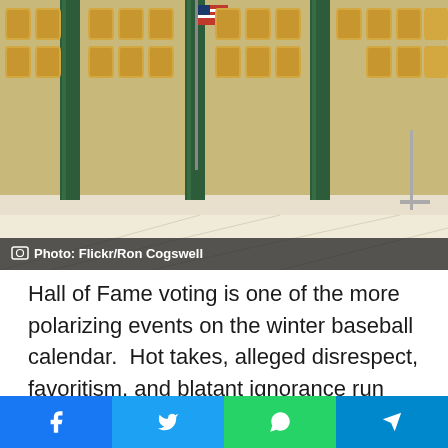[Figure (photo): Interior of Baseball Hall of Fame gallery showing rows of golden plaques on wooden panels with dark marble columns and an American flag in the background]
Photo: Flickr/Ron Cogswell
Hall of Fame voting is one of the more polarizing events on the winter baseball calendar.  Hot takes, alleged disrespect, favoritism, and blatant ignorance run wild. While I try not to criticize or condemn other's picks, I thought it would be a fun opportunity for me to share my hypothetical